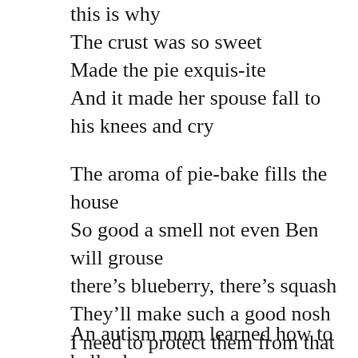this is why
The crust was so sweet
Made the pie exquis-ite
And it made her spouse fall to
his knees and cry
The aroma of pie-bake fills the house
So good a smell not even Ben will grouse
there's blueberry, there's squash
They'll make such a good nosh
I need to protect them from that wily mouse!
An autism mom learned how to belly dance